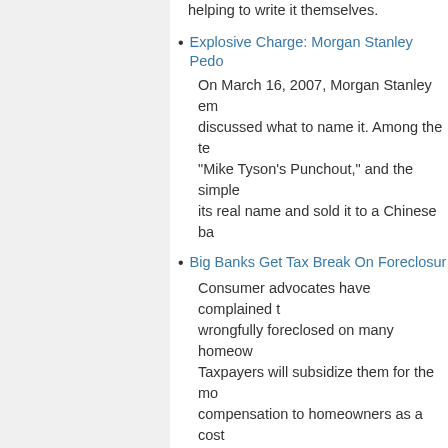helping to write it themselves.
Explosive Charge: Morgan Stanley Pedo...
On March 16, 2007, Morgan Stanley em... discussed what to name it. Among the te... "Mike Tyson's Punchout," and the simple... its real name and sold it to a Chinese ba...
Big Banks Get Tax Break On Foreclosur...
Consumer advocates have complained t... wrongfully foreclosed on many homeow... Taxpayers will subsidize them for the mo... compensation to homeowners as a cost...
What's Inside America's Banks?
Some four years after the 2008 financial... banks as “black boxes” that may still be... close investigation of a supposedly cons... way toward urgent reforms.
Secret and Lies of the Bailout
The federal rescue of Wall Street didn't f...